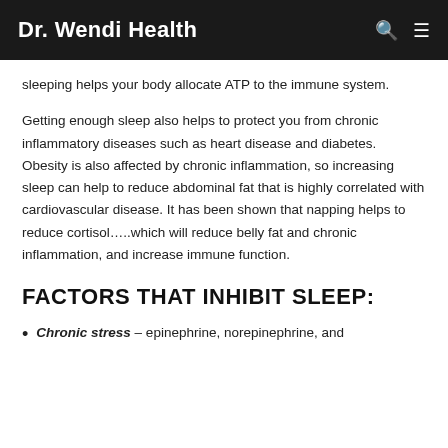Dr. Wendi Health
sleeping helps your body allocate ATP to the immune system.
Getting enough sleep also helps to protect you from chronic inflammatory diseases such as heart disease and diabetes.  Obesity is also affected by chronic inflammation, so increasing sleep can help to reduce abdominal fat that is highly correlated with cardiovascular disease. It has been shown that napping helps to reduce cortisol…..which will reduce belly fat and chronic inflammation, and increase immune function.
FACTORS THAT INHIBIT SLEEP:
Chronic stress – epinephrine, norepinephrine, and